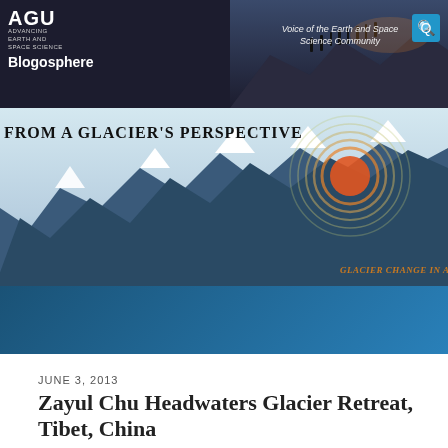[Figure (screenshot): AGU Blogosphere website header with dark background showing silhouettes of people on a ridge, AGU logo on the left, tagline 'Voice of the Earth and Space Science Community' in the center-right, and a blue search button on the far right. Text 'Blogosphere' below the AGU logo.]
[Figure (illustration): Banner for 'From a Glacier's Perspective' blog featuring illustrated snow-capped mountains in a dark blue/grey style with a stylized orange/red sun with concentric rings in the upper right. Text 'GLACIER CHANGE IN A' partially visible on the right side.]
[Figure (other): Dark blue gradient banner bar, likely containing navigation or advertisement content.]
JUNE 3, 2013
Zayul Chu Headwaters Glacier Retreat, Tibet, China
Posted by Mauri Pelto
The headwaters of the Zayul Chu River is a series of glaciers. This river becomes the Lohit River as it enters India. The impact of glaciers is visible just from the color of the water, the greenish tone being generated from glacier flour. The Lohit f...